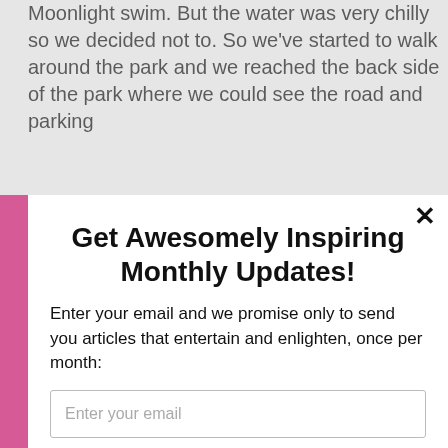Moonlight swim. But the water was very chilly so we decided not to. So we've started to walk around the park and we reached the back side of the park where we could see the road and parking
Get Awesomely Inspiring Monthly Updates!
Enter your email and we promise only to send you articles that entertain and enlighten, once per month:
Enter your email
Count me in!
powered by MailMunch